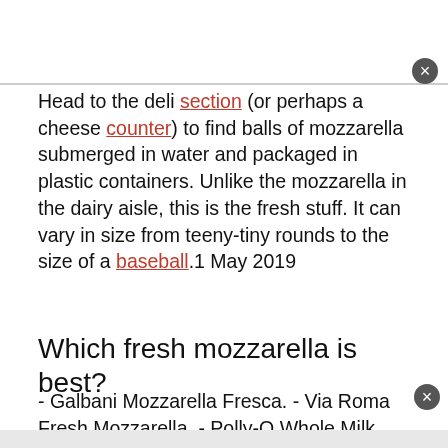Head to the deli section (or perhaps a cheese counter) to find balls of mozzarella submerged in water and packaged in plastic containers. Unlike the mozzarella in the dairy aisle, this is the fresh stuff. It can vary in size from teeny-tiny rounds to the size of a baseball.1 May 2019
Which fresh mozzarella is best?
- Galbani Mozzarella Fresca. - Via Roma Fresh Mozzarella. - Polly-O Whole Milk Mozzarella. - Lioni